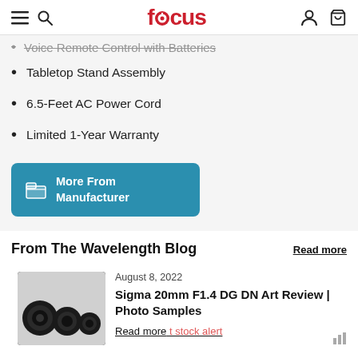focus
Voice Remote Control with Batteries
Tabletop Stand Assembly
6.5-Feet AC Power Cord
Limited 1-Year Warranty
More From Manufacturer
From The Wavelength Blog
Read more
August 8, 2022
Sigma 20mm F1.4 DG DN Art Review | Photo Samples
Read more